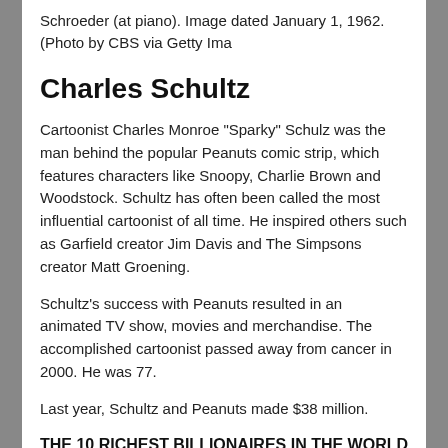Schroeder (at piano). Image dated January 1, 1962. (Photo by CBS via Getty Ima
Charles Schultz
Cartoonist Charles Monroe "Sparky" Schulz was the man behind the popular Peanuts comic strip, which features characters like Snoopy, Charlie Brown and Woodstock. Schultz has often been called the most influential cartoonist of all time. He inspired others such as Garfield creator Jim Davis and The Simpsons creator Matt Groening.
Schultz's success with Peanuts resulted in an animated TV show, movies and merchandise. The accomplished cartoonist passed away from cancer in 2000. He was 77.
Last year, Schultz and Peanuts made $38 million.
THE 10 RICHEST BILLIONAIRES IN THE WORLD IN 2020